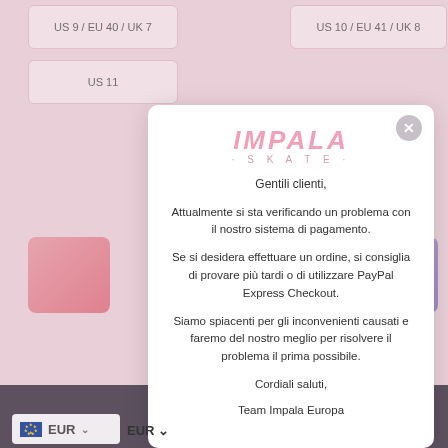[Figure (screenshot): E-commerce shoe size selector page background (pink/lavender theme) with size buttons US 9 / EU 40 / UK 7, US 10 / EU 41 / UK 8, US 11, and color swatches]
[Figure (screenshot): Modal dialog with Impala Skate logo and payment system error message in Italian, with close button]
Gentili clienti,
Attualmente si sta verificando un problema con il nostro sistema di pagamento.
Se si desidera effettuare un ordine, si consiglia di provare più tardi o di utilizzare PayPal Express Checkout.
Siamo spiacenti per gli inconvenienti causati e faremo del nostro meglio per risolvere il problema il prima possibile.
Cordiali saluti,
Team Impala Europa
EUR